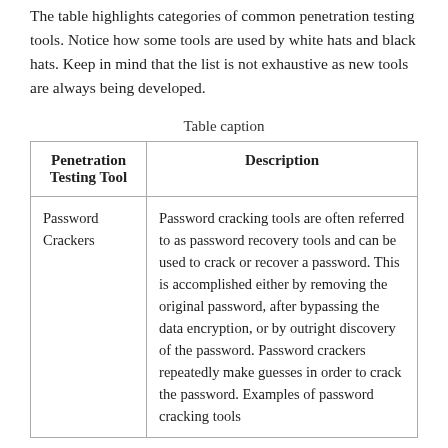The table highlights categories of common penetration testing tools. Notice how some tools are used by white hats and black hats. Keep in mind that the list is not exhaustive as new tools are always being developed.
Table caption
| Penetration Testing Tool | Description |
| --- | --- |
| Password Crackers | Password cracking tools are often referred to as password recovery tools and can be used to crack or recover a password. This is accomplished either by removing the original password, after bypassing the data encryption, or by outright discovery of the password. Password crackers repeatedly make guesses in order to crack the password. Examples of password cracking tools |